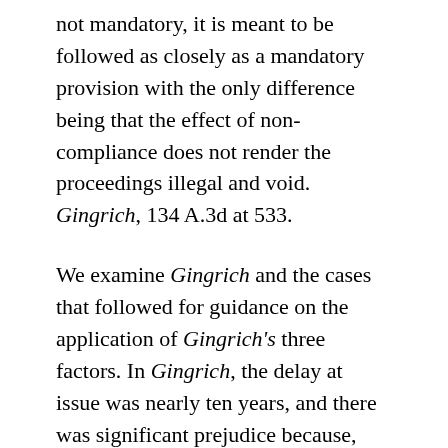not mandatory, it is meant to be followed as closely as a mandatory provision with the only difference being that the effect of non-compliance does not render the proceedings illegal and void. Gingrich, 134 A.3d at 533.
We examine Gingrich and the cases that followed for guidance on the application of Gingrich's three factors. In Gingrich, the delay at issue was nearly ten years, and there was significant prejudice because, during that time period, the licensee married, obtained higher education degrees, got a new job that required her to drive, and had a child who attended a school that required the licensee to drive. Gingrich, 134 A.3d at 535. Because of the prejudice involved and the long delay, the Court